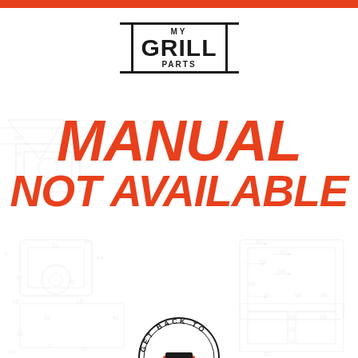[Figure (logo): My Grill Parts logo with black border box, 'MY' on top, 'GRILL' large in middle, 'PARTS' below]
MANUAL NOT AVAILABLE
[Figure (illustration): Background technical diagram of grill parts with numbered callouts, faint gray]
[Figure (logo): GET BACK TO circular badge logo partially visible at bottom]